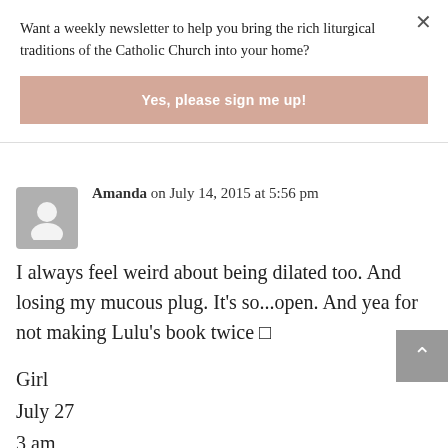Want a weekly newsletter to help you bring the rich liturgical traditions of the Catholic Church into your home?
Yes, please sign me up!
Amanda on July 14, 2015 at 5:56 pm
I always feel weird about being dilated too. And losing my mucous plug. It's so...open. And yea for not making Lulu's book twice □
Girl
July 27
3 am